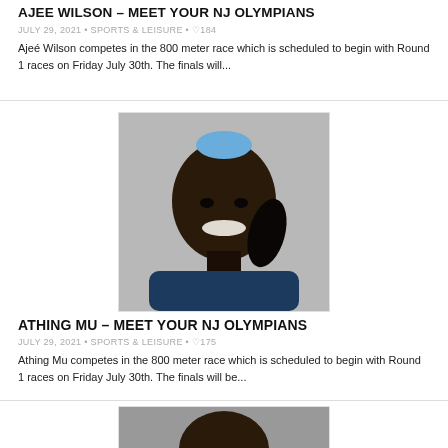AJEE WILSON – MEET YOUR NJ OLYMPIANS
JULY 29, 2021 • SPORTS & LEISURE • ♡184
Ajeé Wilson competes in the 800 meter race which is scheduled to begin with Round 1 races on Friday July 30th. The finals will...
[Figure (photo): Portrait photo of Athing Mu smiling, with blue hair accessory, wearing dark blue top]
ATHING MU – MEET YOUR NJ OLYMPIANS
JULY 29, 2021 • SPORTS & LEISURE • ♡175
Athing Mu competes in the 800 meter race which is scheduled to begin with Round 1 races on Friday July 30th. The finals will be...
[Figure (photo): Partial portrait photo of another athlete, partially visible at bottom of page]